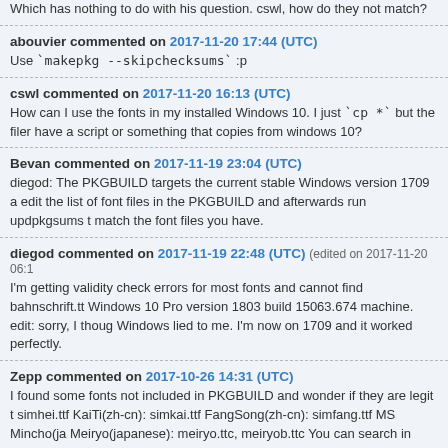Which has nothing to do with his question. cswl, how do they not match?
abouvier commented on 2017-11-20 17:44 (UTC)
Use `makepkg --skipchecksums` :p
cswl commented on 2017-11-20 16:13 (UTC)
How can I use the fonts in my installed Windows 10. I just `cp *` but the files have a script or something that copies from windows 10?
Bevan commented on 2017-11-19 23:04 (UTC)
diegod: The PKGBUILD targets the current stable Windows version 1709 and edit the list of font files in the PKGBUILD and afterwards run updpkgsums to match the font files you have.
diegod commented on 2017-11-19 22:48 (UTC) (edited on 2017-11-20 06:1...)
I'm getting validity check errors for most fonts and cannot find bahnschrift.tt... Windows 10 Pro version 1803 build 15063.674 machine. edit: sorry, I though... Windows lied to me. I'm now on 1709 and it worked perfectly.
Zepp commented on 2017-10-26 14:31 (UTC)
I found some fonts not included in PKGBUILD and wonder if they are legit t... simhei.ttf KaiTi(zh-cn): simkai.ttf FangSong(zh-cn): simfang.ttf MS Mincho(ja... Meiryo(japanese): meiryo.ttc, meiryob.ttc You can search in https://www.microsoft.com/typography/fonts/family.aspx with name of these...